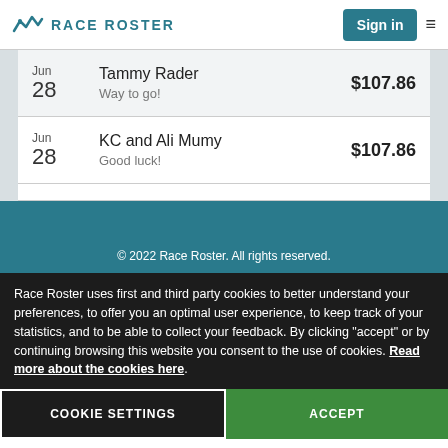Race Roster — Sign in
| Date | Donor | Amount |
| --- | --- | --- |
| Jun 28 | Tammy Rader
Way to go! | $107.86 |
| Jun 28 | KC and Ali Mumy
Good luck! | $107.86 |
© 2022 Race Roster. All rights reserved.
Race Roster uses first and third party cookies to better understand your preferences, to offer you an optimal user experience, to keep track of your statistics, and to be able to collect your feedback. By clicking "accept" or by continuing browsing this website you consent to the use of cookies. Read more about the cookies here.
COOKIE SETTINGS | ACCEPT